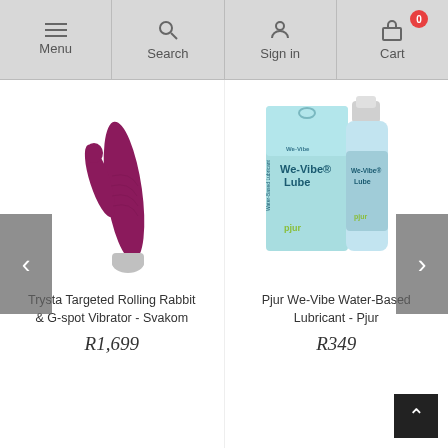Menu | Search | Sign in | Cart (0)
[Figure (photo): Purple/magenta Svakom Trysta Targeted Rolling Rabbit & G-spot Vibrator with silver tip]
Trysta Targeted Rolling Rabbit & G-spot Vibrator - Svakom
R1,699
[Figure (photo): We-Vibe Lube water-based lubricant by Pjur, showing product box and bottle]
Pjur We-Vibe Water-Based Lubricant - Pjur
R349